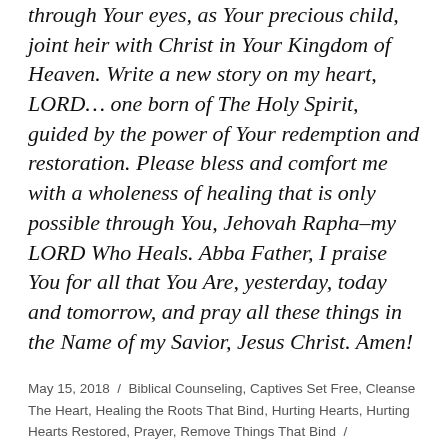through Your eyes, as Your precious child, joint heir with Christ in Your Kingdom of Heaven. Write a new story on my heart, LORD… one born of The Holy Spirit, guided by the power of Your redemption and restoration. Please bless and comfort me with a wholeness of healing that is only possible through You, Jehovah Rapha–my LORD Who Heals. Abba Father, I praise You for all that You Are, yesterday, today and tomorrow, and pray all these things in the Name of my Savior, Jesus Christ. Amen!
May 15, 2018 / Biblical Counseling, Captives Set Free, Cleanse The Heart, Healing the Roots That Bind, Hurting Hearts, Hurting Hearts Restored, Prayer, Remove Things That Bind / #hurtingheartsrestored #healingtherootsthatbind #hurtingheard, #thebalmofgilead #jesusheals #thetruecomforter